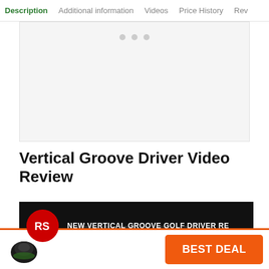Description | Additional information | Videos | Price History | Rev
[Figure (screenshot): Video player placeholder with three grey dots indicating loading carousel]
Vertical Groove Driver Video Review
[Figure (screenshot): Video thumbnail with RS red circular logo and text: NEW VERTICAL GROOVE GOLF DRIVER RE, with large VERTICA watermark text behind]
[Figure (photo): Golf driver club head product image (small, in bottom bar)]
BEST DEAL